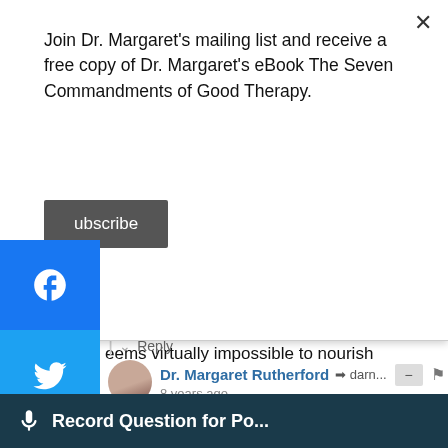Join Dr. Margaret's mailing list and receive a free copy of Dr. Margaret's eBook The Seven Commandments of Good Therapy.
Subscribe
[Figure (screenshot): Facebook share button (blue)]
[Figure (screenshot): Twitter share button (light blue)]
[Figure (screenshot): Pinterest share button (red)]
eems virtually impossible to nourish yourself, to take me for yourself, to "pull yourself out of it." Those words don't always register with someone who is really depressed.
Reply
Dr. Margaret Rutherford → darn… 8 years ago
I would very much agree that in severe depression, or really any depression, there is what I term an implosion of the self. You may be "giving" to others but there is a flatness to everything. It is very difficult fo... objectively or to consider change of any sort.
Record Question for Po...